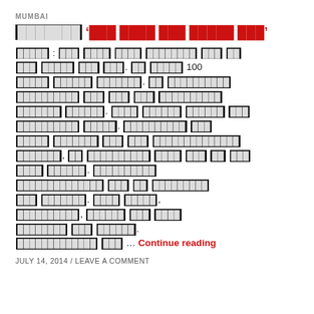MUMBAI
▓▓▓▓▓▓▓ '▓▓▓ ▓▓▓▓ ▓▓▓ ▓▓▓▓▓ ▓▓▓'
▓▓▓▓▓ : ▓▓▓ ▓▓▓▓ ▓▓▓▓ ▓▓▓▓▓▓▓▓ ▓▓▓ ▓▓ ▓▓▓ ▓▓▓▓▓ ▓▓▓ ▓▓▓. ▓▓ ▓▓▓▓▓ 100 ▓▓▓▓▓ ▓▓▓▓▓▓ ▓▓▓▓▓▓▓. ▓▓ ▓▓▓▓▓▓▓▓▓▓ ▓▓▓▓▓▓▓▓▓▓ ▓▓▓ ▓▓▓ ▓▓▓ ▓▓▓▓▓▓▓▓▓▓ ▓▓▓▓▓▓▓ ▓▓▓▓▓▓. ▓▓▓▓ ▓▓▓▓▓▓ ▓▓▓▓▓▓ ▓▓▓ ▓▓▓▓▓▓▓▓▓▓ ▓▓▓▓▓. ▓▓▓▓▓▓▓▓▓▓ ▓▓▓ ▓▓▓▓▓ ▓▓▓▓▓▓▓ ▓▓▓ ▓▓▓ ▓▓▓▓▓▓▓▓▓▓▓▓▓▓ ▓▓▓▓▓▓▓, ▓▓ ▓▓▓▓▓▓▓▓▓▓ ▓▓▓▓ ▓▓▓ ▓▓ ▓▓▓ ▓▓▓▓ ▓▓▓▓▓▓. ▓▓▓▓▓▓▓▓▓▓ ▓▓▓▓▓▓▓▓▓▓▓▓▓▓ ▓▓▓ ▓▓ ▓▓▓▓▓▓▓▓▓ ▓▓▓ ▓▓▓▓▓▓▓. ▓▓▓▓ ▓▓▓▓▓, ▓▓▓▓▓▓▓▓▓▓, ▓▓▓▓▓▓ ▓▓▓ ▓▓▓▓ ▓▓▓▓▓▓▓▓ ▓▓▓ ▓▓▓▓▓▓. ▓▓▓▓▓▓▓▓▓▓▓▓▓ ▓▓▓ ... Continue reading
JULY 14, 2014 / LEAVE A COMMENT